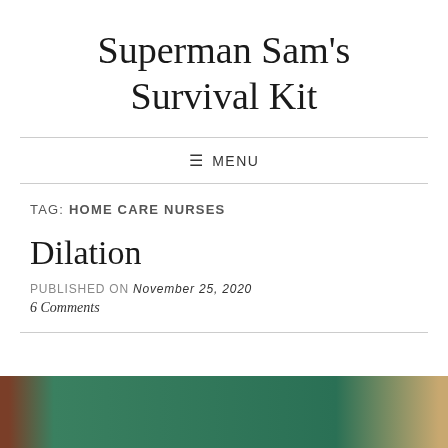Superman Sam's Survival Kit
≡ MENU
TAG: HOME CARE NURSES
Dilation
PUBLISHED ON November 25, 2020
6 Comments
[Figure (photo): Partial view of a photograph showing green and brown tones, appears to be a medical or home setting]